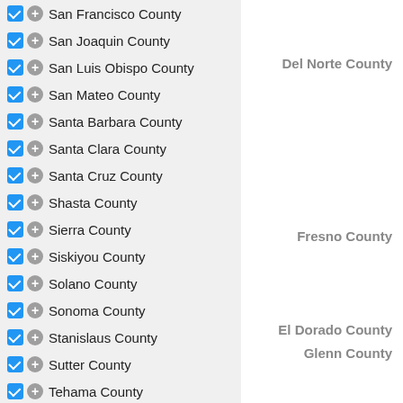San Francisco County
San Joaquin County
Del Norte County
San Luis Obispo County
San Mateo County
Santa Barbara County
Santa Clara County
El Dorado County
Santa Cruz County
Shasta County
Sierra County
Siskiyou County
Fresno County
Solano County
Sonoma County
Stanislaus County
Sutter County
Glenn County
Tehama County
Trinity County
Tulare County